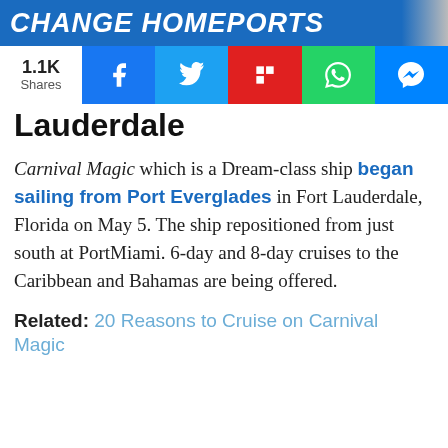[Figure (screenshot): Blue banner with italic bold white text: CHANGE HOMEPORTS]
1.1K Shares
[Figure (infographic): Social share buttons: Facebook (blue), Twitter (light blue), Flipboard (red), WhatsApp (green), Messenger (blue)]
Lauderdale
Carnival Magic which is a Dream-class ship began sailing from Port Everglades in Fort Lauderdale, Florida on May 5. The ship repositioned from just south at PortMiami. 6-day and 8-day cruises to the Caribbean and Bahamas are being offered.
Related: 20 Reasons to Cruise on Carnival Magic